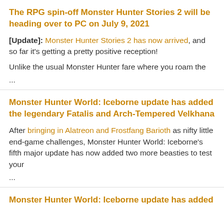The RPG spin-off Monster Hunter Stories 2 will be heading over to PC on July 9, 2021
[Update]: Monster Hunter Stories 2 has now arrived, and so far it's getting a pretty positive reception!
Unlike the usual Monster Hunter fare where you roam the
...
Monster Hunter World: Iceborne update has added the legendary Fatalis and Arch-Tempered Velkhana
After bringing in Alatreon and Frostfang Barioth as nifty little end-game challenges, Monster Hunter World: Iceborne's fifth major update has now added two more beasties to test your
...
Monster Hunter World: Iceborne update has added